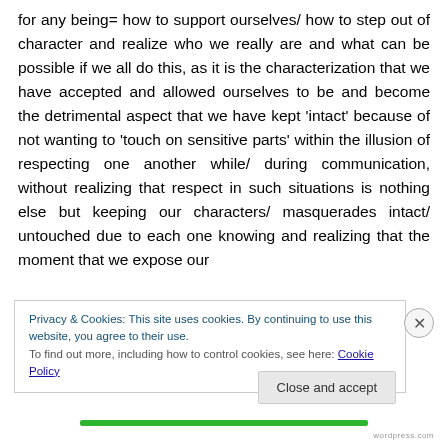for any being= how to support ourselves/ how to step out of character and realize who we really are and what can be possible if we all do this, as it is the characterization that we have accepted and allowed ourselves to be and become the detrimental aspect that we have kept 'intact' because of not wanting to 'touch on sensitive parts' within the illusion of respecting one another while/ during communication, without realizing that respect in such situations is nothing else but keeping our characters/ masquerades intact/ untouched due to each one knowing and realizing that the moment that we expose our
Privacy & Cookies: This site uses cookies. By continuing to use this website, you agree to their use.
To find out more, including how to control cookies, see here: Cookie Policy
Close and accept